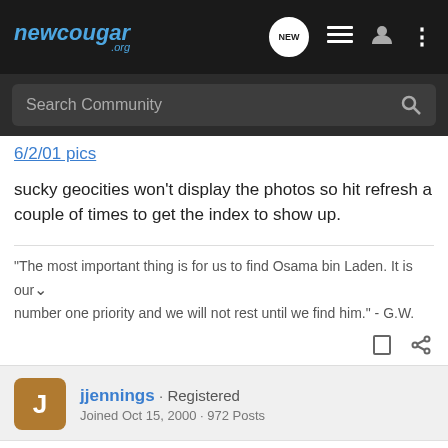[Figure (screenshot): newcougar.org website header with logo, search bar, and navigation icons]
6/2/01 pics
sucky geocities won't display the photos so hit refresh a couple of times to get the index to show up.
"The most important thing is for us to find Osama bin Laden. It is our number one priority and we will not rest until we find him." - G.W.
jjennings · Registered
Joined Oct 15, 2000 · 972 Posts
#2 · Jun 4, 2001